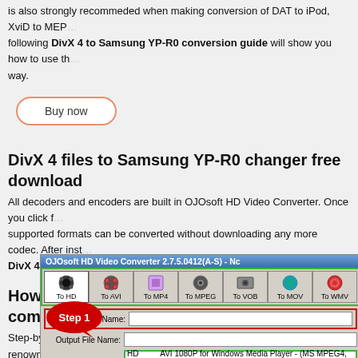is also strongly recommeded when making conversion of DAT to iPod, XviD to MPEG... following DivX 4 to Samsung YP-R0 conversion guide will show you how to use the way.
[Figure (other): Buy now button with orange rounded border]
DivX 4 files to Samsung YP-R0 changer free download
All decoders and encoders are built in OJOsoft HD Video Converter. Once you click f... supported formats can be converted without downloading any more codec. After insta... DivX 4 to Samsung YP-R0.
How to get DivX 4 to Samsung YP-R0 compression
Step-by-step DivX 4 to Samsung YP-R0 conversion tutorial and most renowned Di... DivX 4 videos to Samsung YP-R0 format compression.
[Figure (screenshot): OJOsoft HD Video Converter 2.7.5.0412(A-S) screenshot showing toolbar with To HD, To AVI, To MP4, To MPEG, To VOB, To MOV, To WMV buttons, Input File Name field with Step 1 callout, Output File Name field, and HD Profile field showing AVI 1080P for Windows Media Player - (MS MPEG4, 1920*1080, 29...)]